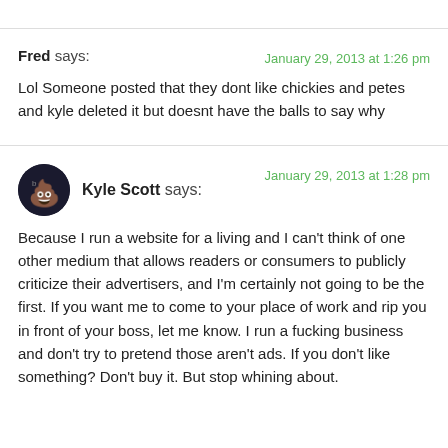Fred says: January 29, 2013 at 1:26 pm
Lol Someone posted that they dont like chickies and petes and kyle deleted it but doesnt have the balls to say why
Kyle Scott says: January 29, 2013 at 1:28 pm
Because I run a website for a living and I can't think of one other medium that allows readers or consumers to publicly criticize their advertisers, and I'm certainly not going to be the first. If you want me to come to your place of work and rip you in front of your boss, let me know. I run a fucking business and don't try to pretend those aren't ads. If you don't like something? Don't buy it. But stop whining about.